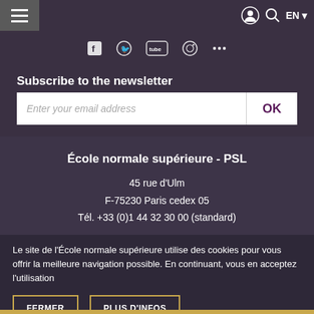≡  EN ▼
[Figure (illustration): Social media icons: Facebook, Twitter/circle, YouTube, Instagram, and another platform icon on dark purple background]
Subscribe to the newsletter
Enter your email address
École normale supérieure - PSL
45 rue d'Ulm
F-75230 Paris cedex 05
Tél. +33 (0)1 44 32 30 00 (standard)
Le site de l'École normale supérieure utilise des cookies pour vous offrir la meilleure navigation possible. En continuant, vous en acceptez l'utilisation
FERMER
PLUS D'INFOS